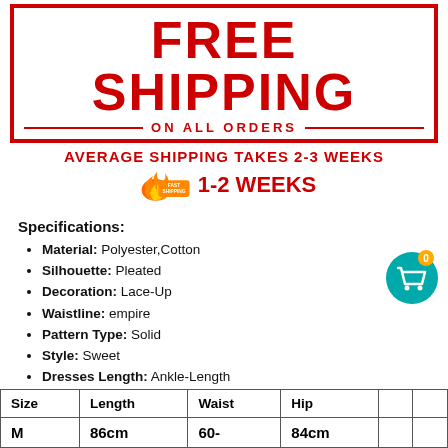FREE SHIPPING ON ALL ORDERS
AVERAGE SHIPPING TAKES 2-3 WEEKS
FAST SHIPPING 1-2 WEEKS
Specifications:
Material: Polyester,Cotton
Silhouette: Pleated
Decoration: Lace-Up
Waistline: empire
Pattern Type: Solid
Style: Sweet
Dresses Length: Ankle-Length
| Size | Length | Waist | Hip |  |  |
| --- | --- | --- | --- | --- | --- |
| M | 86cm | 60- | 84cm |  |  |